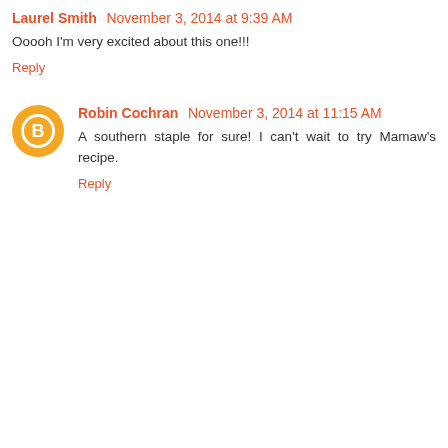Laurel Smith  November 3, 2014 at 9:39 AM
Ooooh I'm very excited about this one!!!
Reply
Robin Cochran  November 3, 2014 at 11:15 AM
A southern staple for sure! I can't wait to try Mamaw's recipe.
Reply